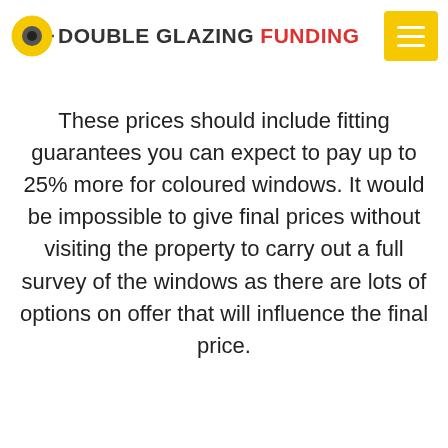DOUBLE GLAZING FUNDING
These prices should include fitting guarantees you can expect to pay up to 25% more for coloured windows. It would be impossible to give final prices without visiting the property to carry out a full survey of the windows as there are lots of options on offer that will influence the final price.